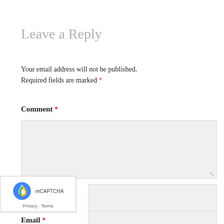Leave a Reply
Your email address will not be published. Required fields are marked *
Comment *
[Figure (other): Comment text area input box with resize handle]
Name *
[Figure (other): Name input field]
Email *
[Figure (other): Email input field]
[Figure (other): reCAPTCHA widget with Google logo, Privacy and Terms links]